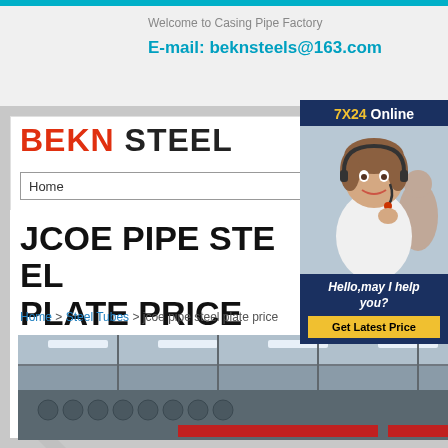Welcome to Casing Pipe Factory
E-mail: beknsteels@163.com
[Figure (logo): BEKN STEEL logo with BEKN in red and STEEL in black]
Home
[Figure (photo): Customer service representative with headset, 7X24 Online chat widget with Hello may I help you and Get Latest Price button]
JCOE PIPE STEEL PLATE PRICE
Home > Steel Tubes > jcoe pipe steel plate price
[Figure (photo): Interior of a steel pipe manufacturing factory warehouse with pipes stacked and overhead lighting]